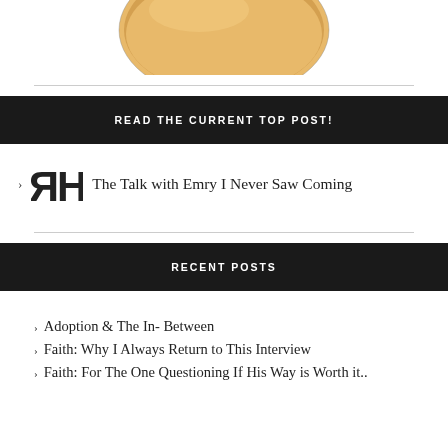[Figure (illustration): Partial view of a round golden/tan colored object (appears to be a bun or bread roll) visible at the top of the page]
READ THE CURRENT TOP POST!
[Figure (logo): Mirrored R-H logo mark in black]
The Talk with Emry I Never Saw Coming
RECENT POSTS
Adoption & The In- Between
Faith: Why I Always Return to This Interview
Faith: For The One Questioning If His Way is Worth it..